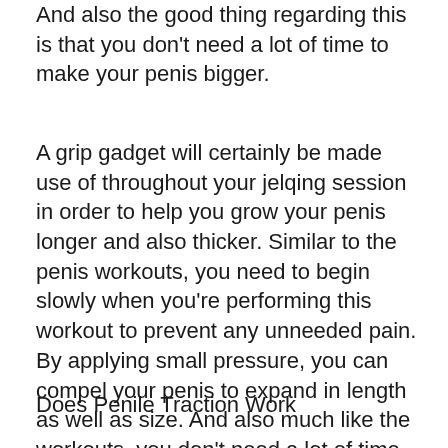And also the good thing regarding this is that you don't need a lot of time to make your penis bigger.
A grip gadget will certainly be made use of throughout your jelqing session in order to help you grow your penis longer and also thicker. Similar to the penis workouts, you need to begin slowly when you're performing this workout to prevent any unneeded pain. By applying small pressure, you can compel your penis to expand in length as well as size. And also much like the workouts, you don't need a lot of time to make your penis larger cock utilizing a grip tool.
Does Penile Traction Work